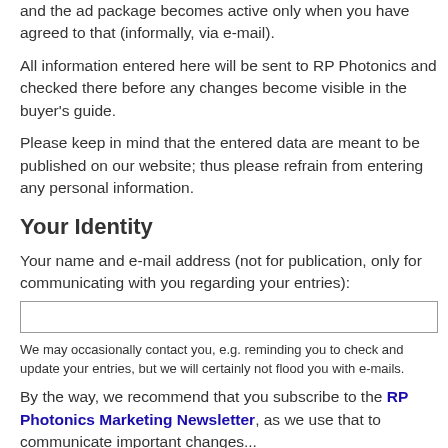and the ad package becomes active only when you have agreed to that (informally, via e-mail).
All information entered here will be sent to RP Photonics and checked there before any changes become visible in the buyer's guide.
Please keep in mind that the entered data are meant to be published on our website; thus please refrain from entering any personal information.
Your Identity
Your name and e-mail address (not for publication, only for communicating with you regarding your entries):
We may occasionally contact you, e.g. reminding you to check and update your entries, but we will certainly not flood you with e-mails.
By the way, we recommend that you subscribe to the RP Photonics Marketing Newsletter, as we use that to communicate important changes...